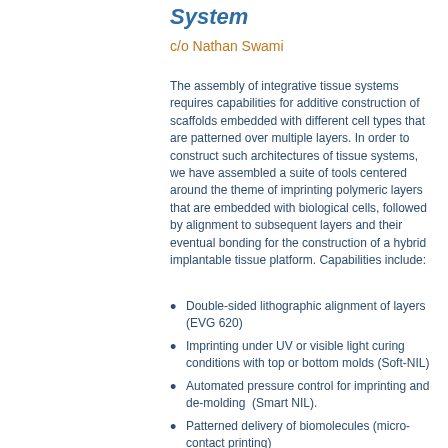System
c/o Nathan Swami
The assembly of integrative tissue systems requires capabilities for additive construction of scaffolds embedded with different cell types that are patterned over multiple layers. In order to construct such architectures of tissue systems, we have assembled a suite of tools centered around the theme of imprinting polymeric layers that are embedded with biological cells, followed by alignment to subsequent layers and their eventual bonding for the construction of a hybrid implantable tissue platform. Capabilities include:
Double-sided lithographic alignment of layers (EVG 620)
Imprinting under UV or visible light curing conditions with top or bottom molds (Soft-NIL)
Automated pressure control for imprinting and de-molding  (Smart NIL).
Patterned delivery of biomolecules (micro-contact printing)